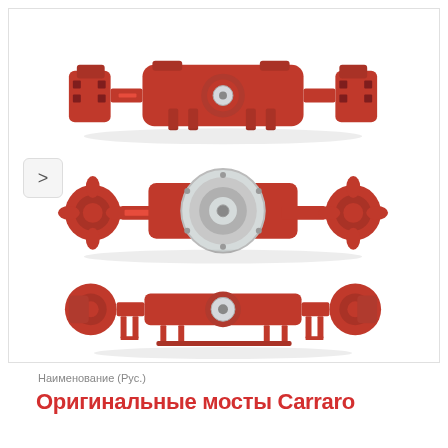[Figure (photo): Three red Carraro axle assemblies shown from different angles: top view of a straight drive axle, middle view of a drive axle with large central differential hub, and bottom view of a front steering axle, all painted red with silver/chrome fittings.]
Наименование (Рус.)
Оригинальные мосты Carraro